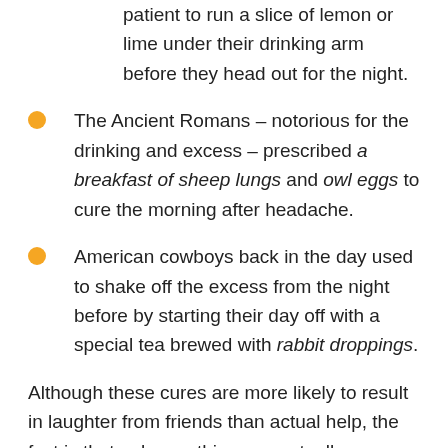patient to run a slice of lemon or lime under their drinking arm before they head out for the night.
The Ancient Romans – notorious for the drinking and excess – prescribed a breakfast of sheep lungs and owl eggs to cure the morning after headache.
American cowboys back in the day used to shake off the excess from the night before by starting their day off with a special tea brewed with rabbit droppings.
Although these cures are more likely to result in laughter from friends than actual help, the fact is that only one thing can actually cure a hangover – time and